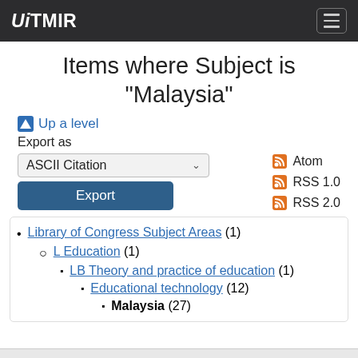UiTMIR
Items where Subject is "Malaysia"
Up a level
Export as  ASCII Citation  Export  Atom  RSS 1.0  RSS 2.0
Library of Congress Subject Areas (1)
L Education (1)
LB Theory and practice of education (1)
Educational technology (12)
Malaysia (27)